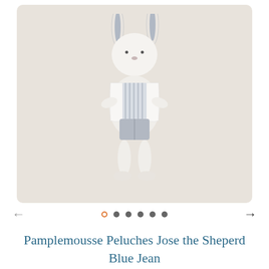[Figure (photo): A white stuffed bunny rabbit toy dressed in a grey and white striped shirt, white vest/jacket, and grey shorts. The bunny has long grey-tipped ears and stands upright against a beige/cream background.]
Pamplemousse Peluches Jose the Sheperd Blue Jean